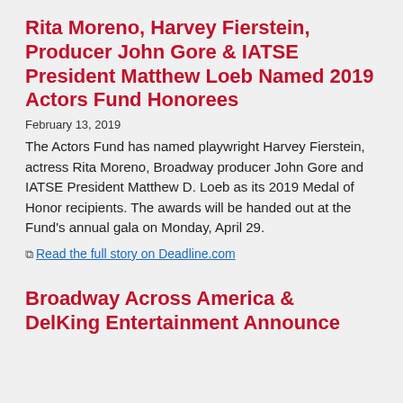Rita Moreno, Harvey Fierstein, Producer John Gore & IATSE President Matthew Loeb Named 2019 Actors Fund Honorees
February 13, 2019
The Actors Fund has named playwright Harvey Fierstein, actress Rita Moreno, Broadway producer John Gore and IATSE President Matthew D. Loeb as its 2019 Medal of Honor recipients. The awards will be handed out at the Fund's annual gala on Monday, April 29.
Read the full story on Deadline.com
Broadway Across America & DelKing Entertainment Announce